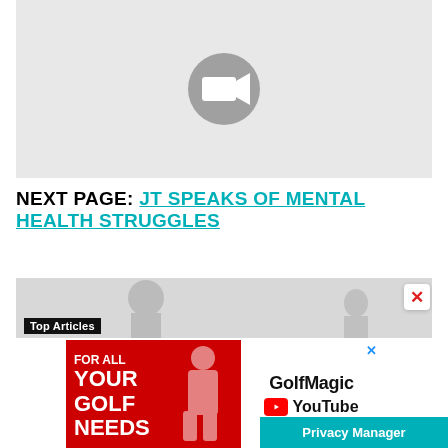[Figure (other): Video placeholder with camera icon on light gray background]
NEXT PAGE: JT SPEAKS OF MENTAL HEALTH STRUGGLES
[Figure (other): Top Articles panel with close button and golfer images]
[Figure (other): GolfMagic YouTube advertisement banner with red left panel saying FOR ALL YOUR GOLF NEEDS and white right panel with GolfMagic YouTube branding]
Privacy Manager